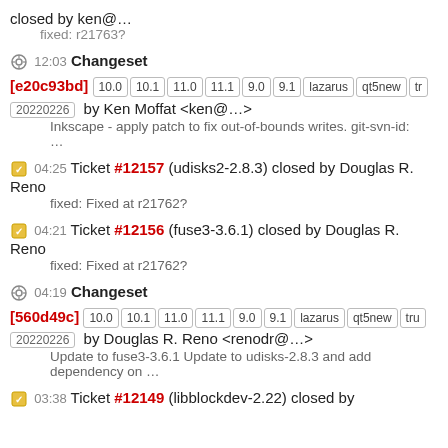closed by ken@…
fixed: r21763?
12:03 Changeset
[e20c93bd] 10.0 10.1 11.0 11.1 9.0 9.1 lazarus qt5new tr
20220226 by Ken Moffat <ken@…>
Inkscape - apply patch to fix out-of-bounds writes. git-svn-id: …
04:25 Ticket #12157 (udisks2-2.8.3) closed by Douglas R. Reno
fixed: Fixed at r21762?
04:21 Ticket #12156 (fuse3-3.6.1) closed by Douglas R. Reno
fixed: Fixed at r21762?
04:19 Changeset
[560d49c] 10.0 10.1 11.0 11.1 9.0 9.1 lazarus qt5new tru
20220226 by Douglas R. Reno <renodr@…>
Update to fuse3-3.6.1 Update to udisks-2.8.3 and add dependency on …
03:38 Ticket #12149 (libblockdev-2.22) closed by